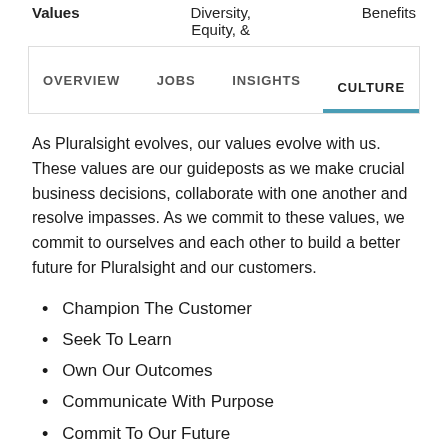Values    Diversity, Equity, &    Benefits
[Figure (screenshot): Navigation tab bar with tabs: OVERVIEW, JOBS, INSIGHTS, CULTURE (active, indicated by blue underline)]
As Pluralsight evolves, our values evolve with us. These values are our guideposts as we make crucial business decisions, collaborate with one another and resolve impasses. As we commit to these values, we commit to ourselves and each other to build a better future for Pluralsight and our customers.
Champion The Customer
Seek To Learn
Own Our Outcomes
Communicate With Purpose
Commit To Our Future